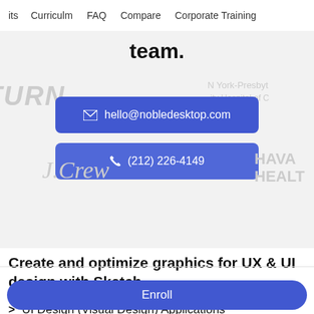its  Curriculm  FAQ  Compare  Corporate Training
team.
hello@nobledesktop.com
(212) 226-4149
Create and optimize graphics for UX & UI design with Sketch
UI Design (Visual Design) Applications
Enroll